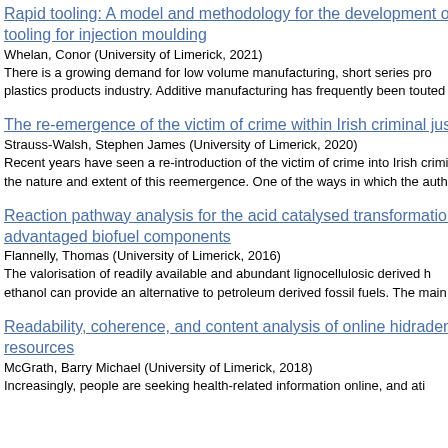Rapid tooling: A model and methodology for the development of tooling for injection moulding
Whelan, Conor (University of Limerick, 2021)
There is a growing demand for low volume manufacturing, short series products in the plastics products industry. Additive manufacturing has frequently been touted a...
The re-emergence of the victim of crime within Irish criminal justice
Strauss-Walsh, Stephen James (University of Limerick, 2020)
Recent years have seen a re-introduction of the victim of crime into Irish criminal justice. This thesis examines the nature and extent of this reemergence. One of the ways in which the autho...
Reaction pathway analysis for the acid catalysed transformation of advantaged biofuel components
Flannelly, Thomas (University of Limerick, 2016)
The valorisation of readily available and abundant lignocellulosic derived biomass through ethanol can provide an alternative to petroleum derived fossil fuels. The main b...
Readability, coherence, and content analysis of online hidraden resources
McGrath, Barry Michael (University of Limerick, 2018)
Increasingly, people are seeking health-related information online, and ati...